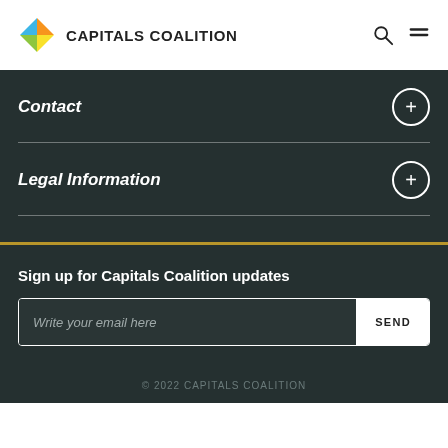CAPITALS COALITION
Contact
Legal Information
Sign up for Capitals Coalition updates
Write your email here
SEND
© 2022 CAPITALS COALITION